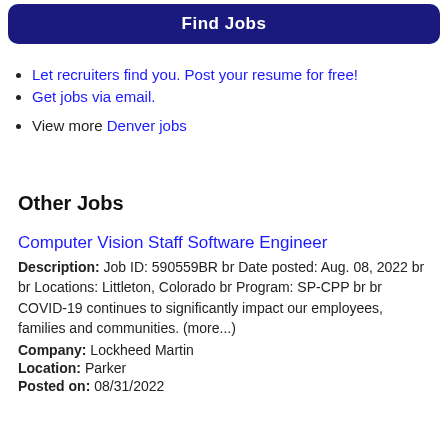Find Jobs
Let recruiters find you. Post your resume for free!
Get jobs via email.
View more Denver jobs
Other Jobs
Computer Vision Staff Software Engineer
Description: Job ID: 590559BR br Date posted: Aug. 08, 2022 br br Locations: Littleton, Colorado br Program: SP-CPP br br COVID-19 continues to significantly impact our employees, families and communities. (more...)
Company: Lockheed Martin
Location: Parker
Posted on: 08/31/2022